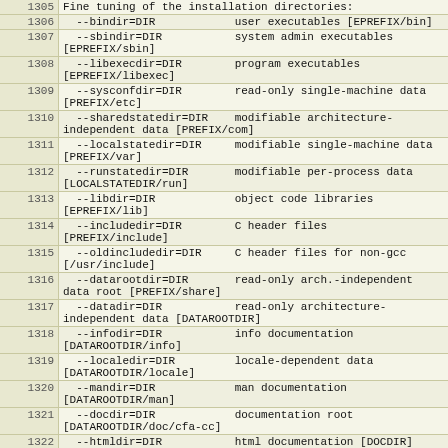| Line | Code |
| --- | --- |
| 1305 | Fine tuning of the installation directories: |
| 1306 |   --bindir=DIR            user executables [EPREFIX/bin] |
| 1307 |   --sbindir=DIR           system admin executables [EPREFIX/sbin] |
| 1308 |   --libexecdir=DIR        program executables [EPREFIX/libexec] |
| 1309 |   --sysconfdir=DIR        read-only single-machine data [PREFIX/etc] |
| 1310 |   --sharedstatedir=DIR    modifiable architecture-independent data [PREFIX/com] |
| 1311 |   --localstatedir=DIR     modifiable single-machine data [PREFIX/var] |
| 1312 |   --runstatedir=DIR       modifiable per-process data [LOCALSTATEDIR/run] |
| 1313 |   --libdir=DIR            object code libraries [EPREFIX/lib] |
| 1314 |   --includedir=DIR        C header files [PREFIX/include] |
| 1315 |   --oldincludedir=DIR     C header files for non-gcc [/usr/include] |
| 1316 |   --datarootdir=DIR       read-only arch.-independent data root [PREFIX/share] |
| 1317 |   --datadir=DIR           read-only architecture-independent data [DATAROOTDIR] |
| 1318 |   --infodir=DIR           info documentation [DATAROOTDIR/info] |
| 1319 |   --localedir=DIR         locale-dependent data [DATAROOTDIR/locale] |
| 1320 |   --mandir=DIR            man documentation [DATAROOTDIR/man] |
| 1321 |   --docdir=DIR            documentation root [DATAROOTDIR/doc/cfa-cc] |
| 1322 |   --htmldir=DIR           html documentation [DOCDIR] |
| 1323 |   --dvidir=DIR            dvi documentation [DOCDIR] |
| 1324 |   --pdfdir=DIR            pdf documentation [DOCDIR] |